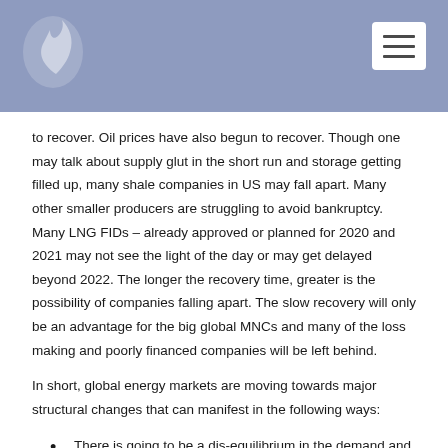to recover. Oil prices have also begun to recover. Though one may talk about supply glut in the short run and storage getting filled up, many shale companies in US may fall apart. Many other smaller producers are struggling to avoid bankruptcy. Many LNG FIDs – already approved or planned for 2020 and 2021 may not see the light of the day or may get delayed beyond 2022. The longer the recovery time, greater is the possibility of companies falling apart. The slow recovery will only be an advantage for the big global MNCs and many of the loss making and poorly financed companies will be left behind.
In short, global energy markets are moving towards major structural changes that can manifest in the following ways:
There is going to be a dis-equilibrium in the demand and